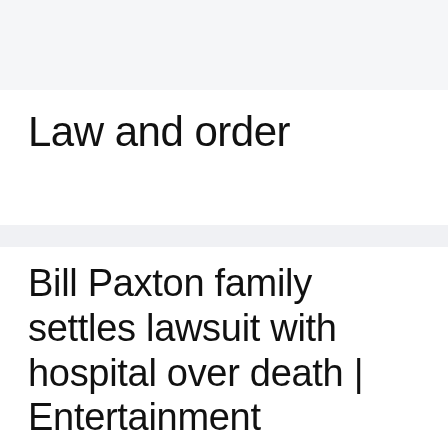Law and order
Bill Paxton family settles lawsuit with hospital over death | Entertainment
August 20, 2022 by admin